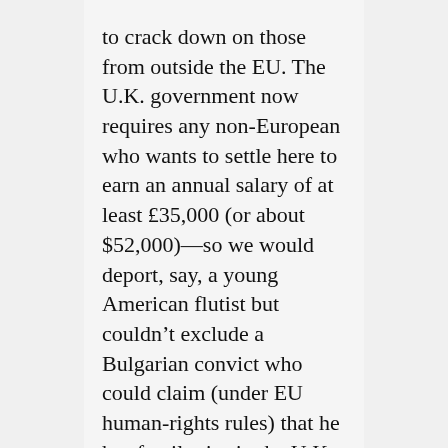to crack down on those from outside the EU. The U.K. government now requires any non-European who wants to settle here to earn an annual salary of at least £35,000 (or about $52,000)—so we would deport, say, a young American flutist but couldn't exclude a Bulgarian convict who could claim (under EU human-rights rules) that he has family ties in the U.K.
To most Brits, this makes no sense. In a television debate last week, Mr. Cameron was asked if